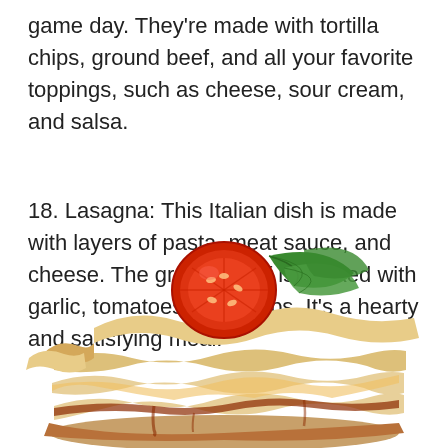game day. They're made with tortilla chips, ground beef, and all your favorite toppings, such as cheese, sour cream, and salsa.
18. Lasagna: This Italian dish is made with layers of pasta, meat sauce, and cheese. The ground beef is cooked with garlic, tomatoes, and herbs. It's a hearty and satisfying meal.
[Figure (illustration): Illustration of a lasagna slice topped with a sliced tomato and green basil leaves, showing layered pasta, meat sauce, and cheese]